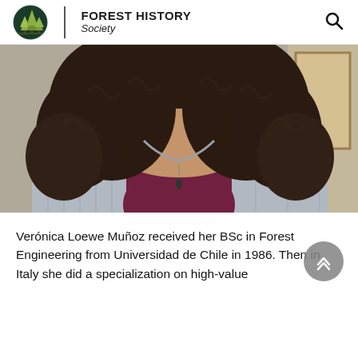FOREST HISTORY Society
[Figure (photo): Photo of Verónica Loewe Muñoz, showing curly dark hair, grey knit cardigan over a burgundy top with a pendant necklace. Photo is cropped at the neck/shoulders area.]
Verónica Loewe Muñoz received her BSc in Forest Engineering from Universidad de Chile in 1986. Then in Italy she did a specialization on high-value